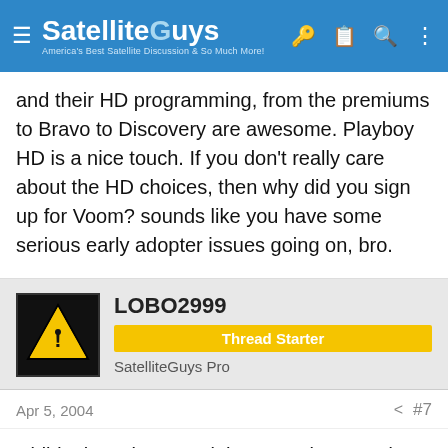SatelliteGuys — America's Best Satellite Discussion & So Much More!
and their HD programming, from the premiums to Bravo to Discovery are awesome. Playboy HD is a nice touch. If you don't really care about the HD choices, then why did you sign up for Voom? sounds like you have some serious early adopter issues going on, bro.
LOBO2999
Thread Starter
SatelliteGuys Pro
Apr 5, 2004  #7
Didideal maybe your right or maybe I need to really watch some other programs and not expect them to be more than I am used too,
thanks for everyones reply I will stick with it and see